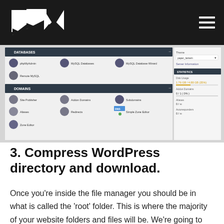Logo and navigation menu
[Figure (screenshot): cPanel hosting dashboard screenshot showing DATABASES section with phpMyAdmin, MySQL Databases, MySQL Database Wizard, Remote MySQL icons; and DOMAINS section with Site Publisher, Addon Domains, Subdomains, Aliases, Redirects, Simple Zone Editor icons. Right panel shows Theme selector, Server Information, STATISTICS panel with Disk Usage 1.76 GB / 4.88 GB (35%), Addon Domains 0/1 (0%), Aliases 0/-, Autoresponders 0/-.]
3. Compress WordPress directory and download.
Once you're inside the file manager you should be in what is called the 'root' folder. This is where the majority of your website folders and files will be. We're going to select your entire WordPress direcotry, including 'wp-